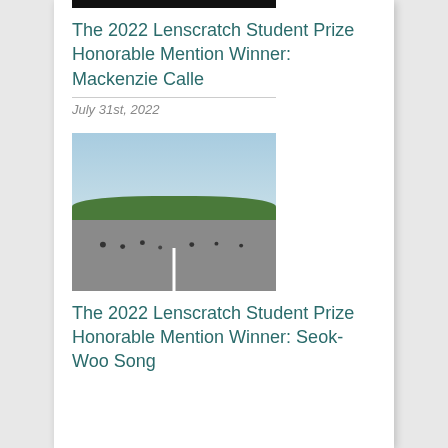[Figure (photo): Partially visible top of a photo, dark/black tones, cropped at page top]
The 2022 Lenscratch Student Prize Honorable Mention Winner: Mackenzie Calle
July 31st, 2022
[Figure (photo): Outdoor photo of a wide road/plaza with people scattered, green trees and blue sky in background]
The 2022 Lenscratch Student Prize Honorable Mention Winner: Seok-Woo Song